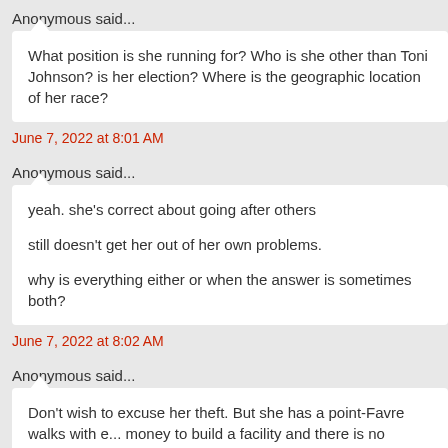Anonymous said...
What position is she running for? Who is she other than Toni Johnson? is her election? Where is the geographic location of her race?
June 7, 2022 at 8:01 AM
Anonymous said...
yeah. she's correct about going after others

still doesn't get her out of her own problems.

why is everything either or when the answer is sometimes both?
June 7, 2022 at 8:02 AM
Anonymous said...
Don't wish to excuse her theft. But she has a point-Favre walks with e... money to build a facility and there is no indictment. She takes a tv from Zuckerberg and is indicted and a press release is sent out
June 7, 2022 at 8:10 AM